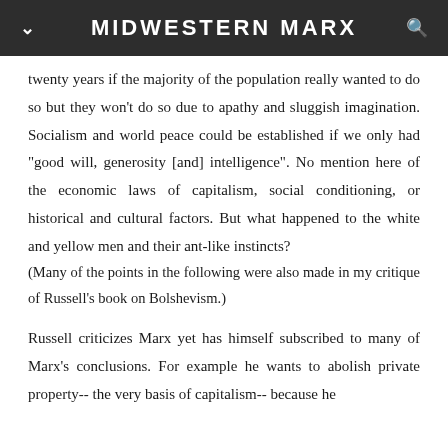MIDWESTERN MARX
twenty years if the majority of the population really wanted to do so but they won't do so due to apathy and sluggish imagination. Socialism and world peace could be established if we only had "good will, generosity [and] intelligence". No mention here of the economic laws of capitalism, social conditioning, or historical and cultural factors. But what happened to the white and yellow men and their ant-like instincts?
(Many of the points in the following were also made in my critique of Russell's book on Bolshevism.)

Russell criticizes Marx yet has himself subscribed to many of Marx's conclusions. For example he wants to abolish private property-- the very basis of capitalism-- because he